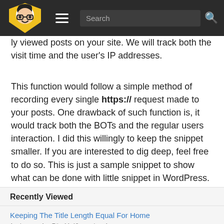Search
ly viewed posts on your site. We will track both the visit time and the user's IP addresses.
This function would follow a simple method of recording every single https:// request made to your posts. One drawback of such function is, it would track both the BOTs and the regular users interaction. I did this willingly to keep the snippet smaller. If you are interested to dig deep, feel free to do so. This is just a sample snippet to show what can be done with little snippet in WordPress.
Recently Viewed
Keeping The Title Length Equal For Home
1 min ago · Apr 7th, 11:43 pm · ip: ::1